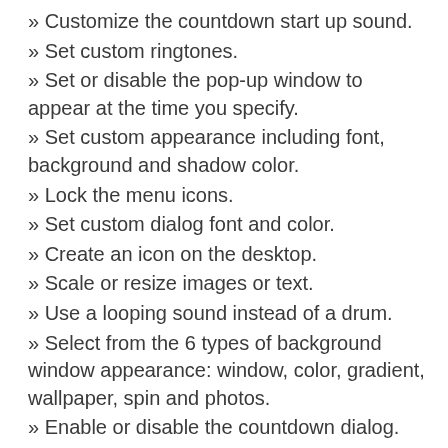» Customize the countdown start up sound.
» Set custom ringtones.
» Set or disable the pop-up window to appear at the time you specify.
» Set custom appearance including font, background and shadow color.
» Lock the menu icons.
» Set custom dialog font and color.
» Create an icon on the desktop.
» Scale or resize images or text.
» Use a looping sound instead of a drum.
» Select from the 6 types of background window appearance: window, color, gradient, wallpaper, spin and photos.
» Enable or disable the countdown dialog.
» Adjust the text colors.
» Use custom images as the clock background.